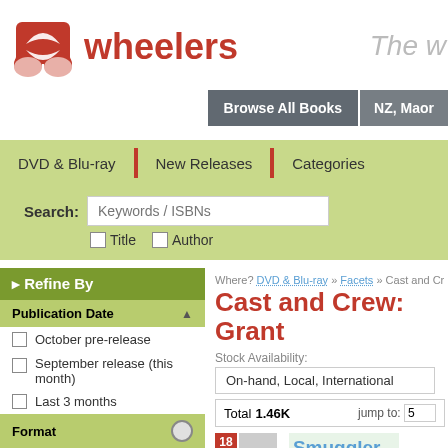[Figure (logo): Wheelers logo with red stylized book/flower icon and red 'wheelers' text]
The w
Browse All Books | NZ, Maor
DVD & Blu-ray | New Releases | Categories
Search: Keywords / ISBNs
Title  Author
Where? DVD & Blu-ray » Facets » Cast and Cr
Cast and Crew: Grant
Refine By
Publication Date
October pre-release
September release (this month)
Last 3 months
Last 12 months
Older than 12 months
Format
Stock Availability:
On-hand, Local, International
Total 1.46K    jump to:  5
Smuggler (DVD, M